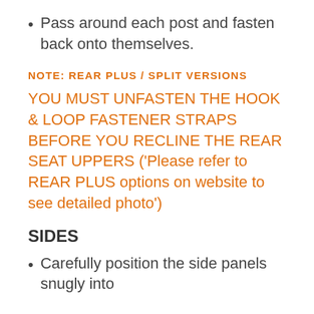Pass around each post and fasten back onto themselves.
NOTE: REAR PLUS / SPLIT VERSIONS
YOU MUST UNFASTEN THE HOOK & LOOP FASTENER STRAPS BEFORE YOU RECLINE THE REAR SEAT UPPERS ('Please refer to REAR PLUS options on website to see detailed photo')
SIDES
Carefully position the side panels snugly into